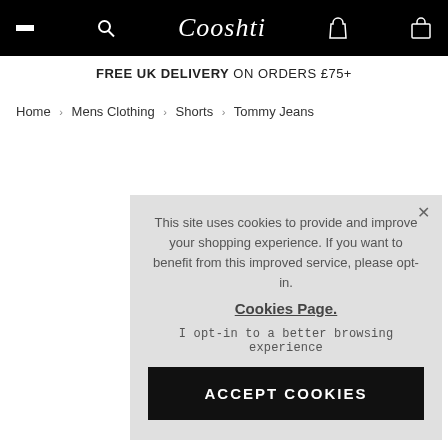[Figure (screenshot): Black navigation header bar with hamburger menu icon, search icon, Cooshti logo in cursive script, user account icon, and shopping bag icon]
FREE UK DELIVERY ON ORDERS £75+
Home › Mens Clothing › Shorts › Tommy Jeans
This site uses cookies to provide and improve your shopping experience. If you want to benefit from this improved service, please opt-in. Cookies Page.

I opt-in to a better browsing experience

ACCEPT COOKIES